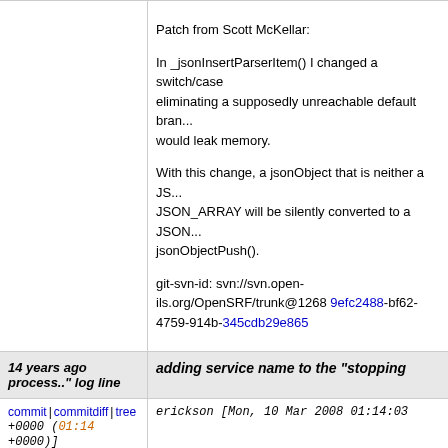Patch from Scott McKellar:

In _jsonInsertParserItem() I changed a switch/case eliminating a supposedly unreachable default branch that would leak memory.

With this change, a jsonObject that is neither a JS... JSON_ARRAY will be silently converted to a JSON... jsonObjectPush().

git-svn-id: svn://svn.open-ils.org/OpenSRF/trunk@1268 9efc2488-bf62-4759-914b-345cdb29e865
14 years ago adding service name to the "stopping process.." log line
commit | commitdiff | tree
erickson [Mon, 10 Mar 2008 01:14:03 +0000 (01:14 +0000)]
adding service name to the "stopping process.." lo...

git-svn-id: svn://svn.open-ils.org/OpenSRF/trunk@1267 9efc2488-bf62-4759-914b-345cdb29e865
14 years ago added special case to avoid wrapping